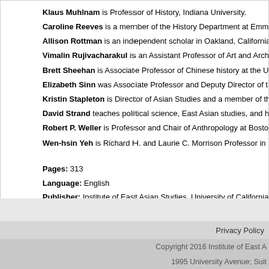Klaus Muhlman is Professor of History, Indiana University.
Caroline Reeves is a member of the History Department at Emmanuel C...
Allison Rottman is an independent scholar in Oakland, California.
Vimalin Rujivacharakul is an Assistant Professor of Art and Architectura...
Brett Sheehan is Associate Professor of Chinese history at the Universit...
Elizabeth Sinn was Associate Professor and Deputy Director of the Cent...
Kristin Stapleton is Director of Asian Studies and a member of the Histo...
David Strand teaches political science, East Asian studies, and history a...
Robert P. Weller is Professor and Chair of Anthropology at Boston Unive...
Wen-hsin Yeh is Richard H. and Laurie C. Morrison Professor in History...
Pages: 313
Language: English
Publisher: Institute of East Asian Studies, University of California, Berkel...
OCLC: 170057765
Privacy Policy
Copyright 2016 Institute of East A...
1995 University Avenue; Suit...